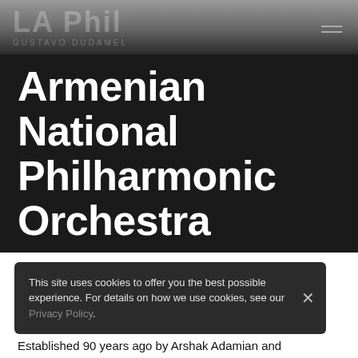LA Phil GUSTAVO DUDAMEL
Armenian National Philharmonic Orchestra
About this Artist
The Armenian National Philharmonic Orchestra (ANPO) is an orchestra based in Yerevan, Armenia. It has always been considered one of the leading orchestras of the
This site uses cookies to offer you the best possible experience. For details on how we use cookies, see our Privacy Policy.
Established 90 years ago by Arshak Adamian and